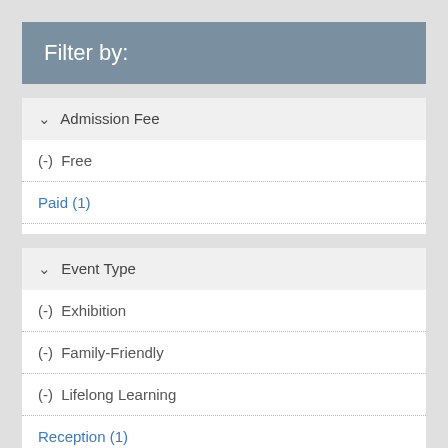Filter by:
Admission Fee
(-) Free
Paid (1)
Event Type
(-) Exhibition
(-) Family-Friendly
(-) Lifelong Learning
Reception (1)